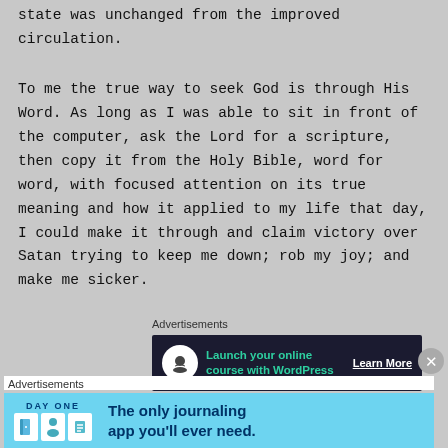state was unchanged from the improved circulation.
To me the true way to seek God is through His Word. As long as I was able to sit in front of the computer, ask the Lord for a scripture, then copy it from the Holy Bible, word for word, with focused attention on its true meaning and how it applied to my life that day, I could make it through and claim victory over Satan trying to keep me down; rob my joy; and make me sicker.
Advertisements
[Figure (screenshot): Dark advertisement banner: 'Launch your online course with WordPress' with 'Learn More' button]
Advertisements
[Figure (screenshot): Light blue Day One journaling app advertisement: 'The only journaling app you'll ever need.']